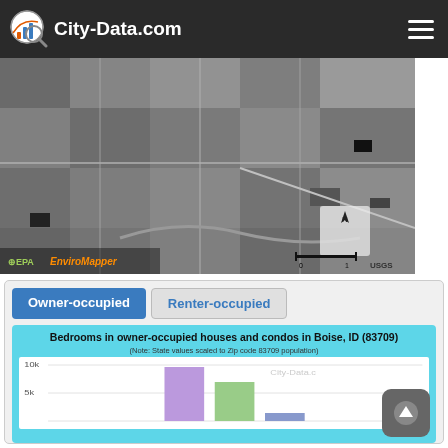City-Data.com
[Figure (map): Aerial satellite map (grayscale) from EPA EnviroMapper / USGS showing Boise, ID area with north arrow and scale bar]
Owner-occupied
Renter-occupied
[Figure (bar-chart): Bar chart showing bedroom counts for owner-occupied homes in zip code 83709, Boise ID. Note: State values scaled to Zip code 83709 population. Y-axis shows 10k and 5k labels. Partial chart visible.]